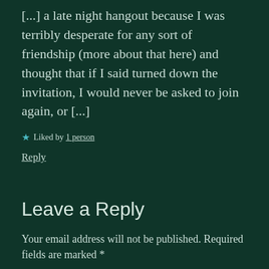[...] a late night hangout because I was terribly desperate for any sort of friendship (more about that here) and thought that if I said turned down the invitation, I would never be asked to join again, or [...]
★ Liked by 1 person
Reply
Leave a Reply
Your email address will not be published. Required fields are marked *
Comment *